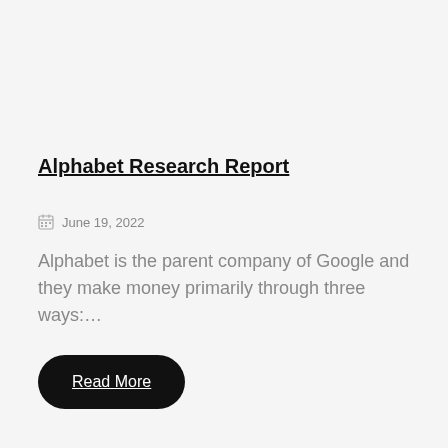Alphabet Research Report
June 19, 2022
Alphabet is the parent company of Google and they make money primarily through three ways:....
Read More